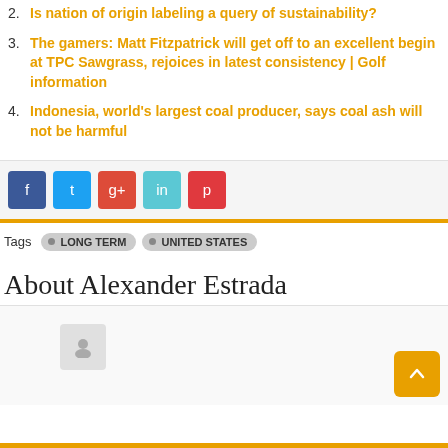2. Is nation of origin labeling a query of sustainability?
3. The gamers: Matt Fitzpatrick will get off to an excellent begin at TPC Sawgrass, rejoices in latest consistency | Golf information
4. Indonesia, world’s largest coal producer, says coal ash will not be harmful
[Figure (other): Social share buttons: Facebook (blue), Twitter (light blue), Google+ (red), LinkedIn (teal/cyan), Pinterest (red)]
Tags  LONG TERM  UNITED STATES
About Alexander Estrada
[Figure (other): Author profile box with avatar placeholder icon and orange scroll-to-top button]